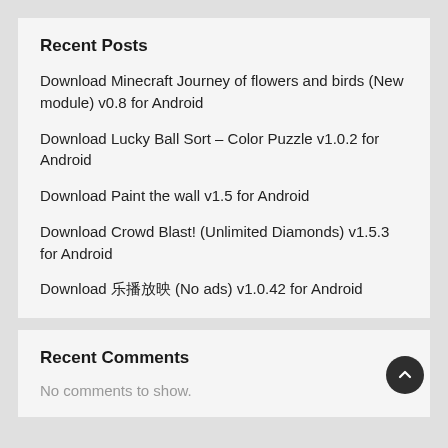Recent Posts
Download Minecraft Journey of flowers and birds (New module) v0.8 for Android
Download Lucky Ball Sort – Color Puzzle v1.0.2 for Android
Download Paint the wall v1.5 for Android
Download Crowd Blast! (Unlimited Diamonds) v1.5.3 for Android
Download 乐播放映 (No ads) v1.0.42 for Android
Recent Comments
No comments to show.